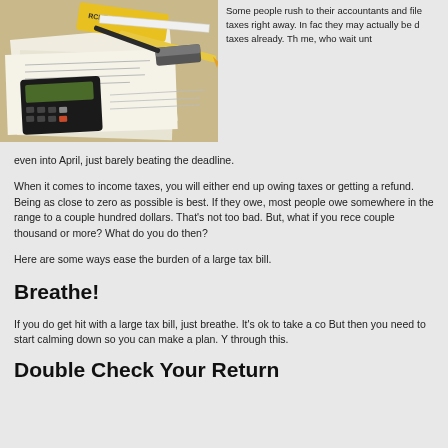[Figure (photo): A desk scene with tax forms, a calculator, pencils, a yellow tape measure, and a folder labeled 'RCNT TAX FILE']
Some people rush to their accountants and file taxes right away. In fact, they may actually be done with taxes already. There's also me, who wait until even into April, just barely beating the deadline.
When it comes to income taxes, you will either end up owing taxes or getting a refund. Being as close to zero as possible is best. If they owe, most people owe somewhere in the range to a couple hundred dollars. That's not too bad. But, what if you received a bill for a couple thousand or more? What do you do then?
Here are some ways ease the burden of a large tax bill.
Breathe!
If you do get hit with a large tax bill, just breathe. It's ok to take a couple minutes to freak out. But then you need to start calming down so you can make a plan. You will get through this.
Double Check Your Return